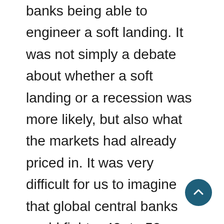banks being able to engineer a soft landing. It was not simply a debate about whether a soft landing or a recession was more likely, but also what the markets had already priced in. It was very difficult for us to imagine that global central banks could fight a 40- to 50-year high in inflation by raising rates and reducing balance sheets without pushing economies into recession. A soft landing seems very aspirational. But we also had to appreciate that markets were already pricing in some magnitude of prolonged inflation, central bank tightening and slower growth. The challenge was to assign probabilities to economic scenarios and find our position...